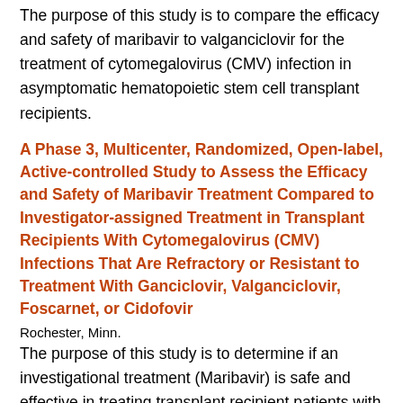The purpose of this study is to compare the efficacy and safety of maribavir to valganciclovir for the treatment of cytomegalovirus (CMV) infection in asymptomatic hematopoietic stem cell transplant recipients.
A Phase 3, Multicenter, Randomized, Open-label, Active-controlled Study to Assess the Efficacy and Safety of Maribavir Treatment Compared to Investigator-assigned Treatment in Transplant Recipients With Cytomegalovirus (CMV) Infections That Are Refractory or Resistant to Treatment With Ganciclovir, Valganciclovir, Foscarnet, or Cidofovir
Rochester, Minn.
The purpose of this study is to determine if an investigational treatment (Maribavir) is safe and effective in treating transplant recipient patients with cytomegalovirus (CMV) infections that are refractory or resistant to treatment.